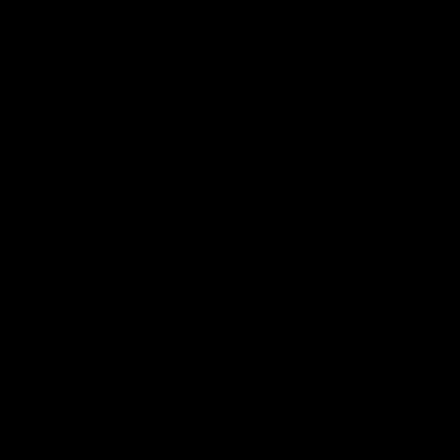Dr. Peacock - Muzika EP-(PCR052)-WEB-20...
Dr. Peacock - Out of My Fucking Mind EP-(P...
Dr. Peacock - Retarded EP-(PCR061)-WEB-20...
Dr. Peacock - Trip Around the World-(PCR04...
Dr. Peacock and Frenzy - A Trip to the Highlan...
Dr. Peacock and Friends - Creme De La Core ...
Dr. Peacock and Maissouille - Super Saiyan El...
Dr. Peacock and Maotai - End of the World-(P...
Dr. Peacock and Mr. Ivex - Vive La Frenchcore...
Dr. Peacock and Remzcore - Broken Dreams-(...
Dr. Peacock and Sefa - Trip to Bangladesh-(PC...
Dr. Peacock and the Mastery - Mr. Jones-(PCR...
Dr. Peacock and the Whistlers - The Lonely Sh...
Dr. Peacock vs the Braindrillerz - Dope as F Cl...
Dr. Pickman - Mental Infection-(PHK043)-WE...
Dr Looney - Hyperactivity-(4061798009336)-W...
Dr Mathlovsky - Void X Death-(ISRDIGI101)-...
Dr Peacock and Zyklon - Overload EP-(PCR0...
Dreamz - You and Me-(BGRD002)-WEB-2012...
DRS - Underground Empire-(TSR018)-WEB-2...
D-Silent - The Way to the Rhythm EP-(PHK07...
Dual Mechanism - Element Arsenic-(DD12015...
Dual Mechanism - Element Arsenic-(DD13015...
Dune - Revival Special Edition Vol. 1-(PARMX...
Dutch Concert - Slammin-(TT11)-Vinyl-1994-...